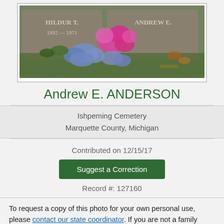[Figure (photo): Gravestone photo showing 'HILDUR T. 1892-1971' and 'ANDREW E.' with pink and blue flowers in front, surrounded by grass and leaves.]
Andrew E. ANDERSON
Ishpeming Cemetery
Marquette County, Michigan
Contributed on 12/15/17
Suggest a Correction
Record #: 127160
To request a copy of this photo for your own personal use, please contact our state coordinator. If you are not a family member or the original photographer, please refrain from copying or distributing